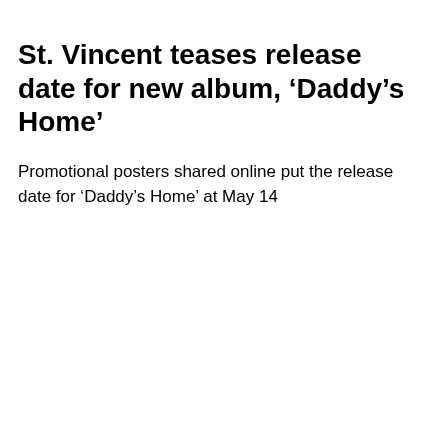St. Vincent teases release date for new album, ‘Daddy’s Home’
Promotional posters shared online put the release date for ‘Daddy’s Home’ at May 14